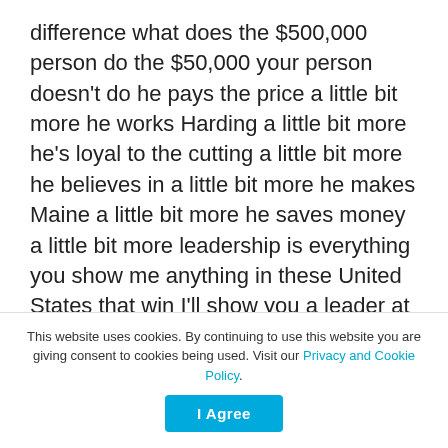difference what does the $500,000 person do the $50,000 your person doesn't do he pays the price a little bit more he works Harding a little bit more he's loyal to the cutting a little bit more he believes in a little bit more he makes Maine a little bit more he saves money a little bit more leadership is everything you show me anything in these United States that win I'll show you a leader at work you show me a successful church Boy Scout troop club football team business I'll show you something a run by leader sissy I thought at one
This website uses cookies. By continuing to use this website you are giving consent to cookies being used. Visit our Privacy and Cookie Policy.